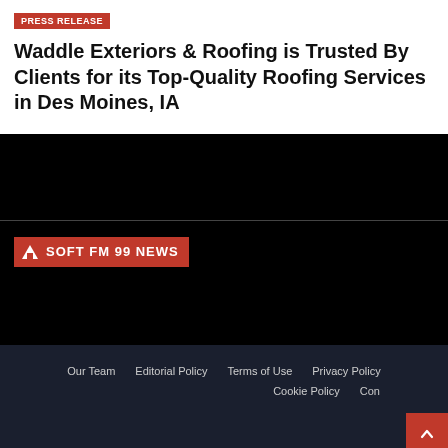PRESS RELEASE
Waddle Exteriors & Roofing is Trusted By Clients for its Top-Quality Roofing Services in Des Moines, IA
[Figure (other): Black rectangular area (video or image placeholder)]
[Figure (logo): Soft FM 99 News logo — red badge with white triangle/mountain icon and white bold text SOFT FM 99 NEWS]
Our Team   Editorial Policy   Terms of Use   Privacy Policy   Cookie Policy   Con...